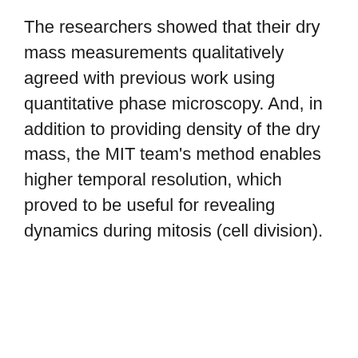The researchers showed that their dry mass measurements qualitatively agreed with previous work using quantitative phase microscopy. And, in addition to providing density of the dry mass, the MIT team's method enables higher temporal resolution, which proved to be useful for revealing dynamics during mitosis (cell division).